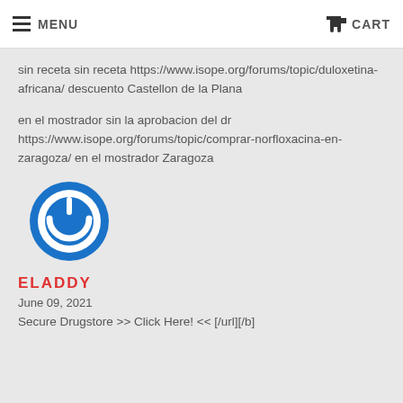MENU  CART
sin receta sin receta https://www.isope.org/forums/topic/duloxetina-africana/ descuento Castellon de la Plana
en el mostrador sin la aprobacion del dr https://www.isope.org/forums/topic/comprar-norfloxacina-en-zaragoza/ en el mostrador Zaragoza
[Figure (logo): Blue circular power button logo/avatar icon]
ELADDY
June 09, 2021
Secure Drugstore >> Click Here! << [/url][/b]